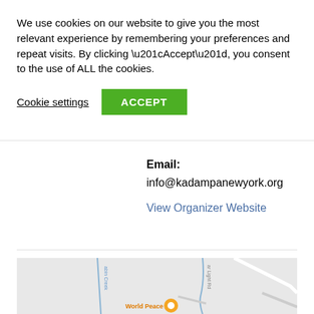We use cookies on our website to give you the most relevant experience by remembering your preferences and repeat visits. By clicking “Accept”, you consent to the use of ALL the cookies.
Cookie settings | ACCEPT
Email:
info@kadampanewyork.org
View Organizer Website
[Figure (map): Map section showing roads and a location marker labeled 'World Peace' with an orange circle icon. Roads include a blue creek (abin Creek) and a road labeled 'ar Light Rd'. Background is light gray with white roads.]